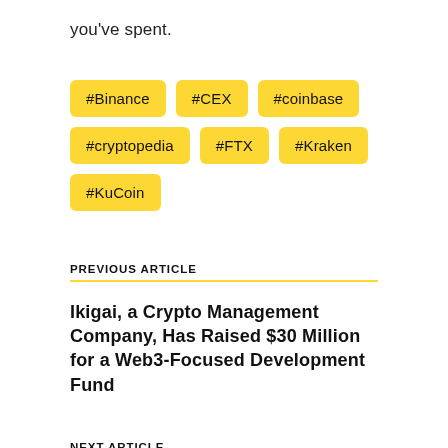you've spent.
#Binance
#CEX
#coinbase
#cryptopedia
#FTX
#Kraken
#KuCoin
PREVIOUS ARTICLE
Ikigai, a Crypto Management Company, Has Raised $30 Million for a Web3-Focused Development Fund
NEXT ARTICLE
Shopify Merchants Can Now Use CryptoCom